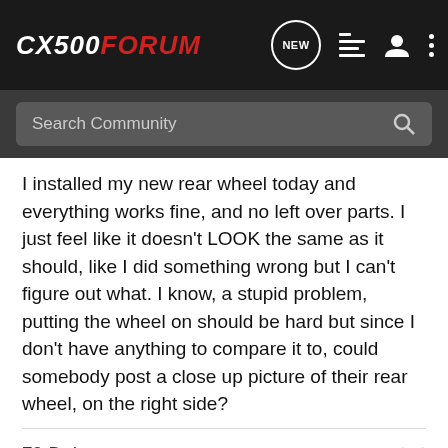CX500FORUM
I installed my new rear wheel today and everything works fine, and no left over parts. I just feel like it doesn't LOOK the same as it should, like I did something wrong but I can't figure out what. I know, a stupid problem, putting the wheel on should be hard but since I don't have anything to compare it to, could somebody post a close up picture of their rear wheel, on the right side?
79 Deluxe
rampmat06 · Super Moderator